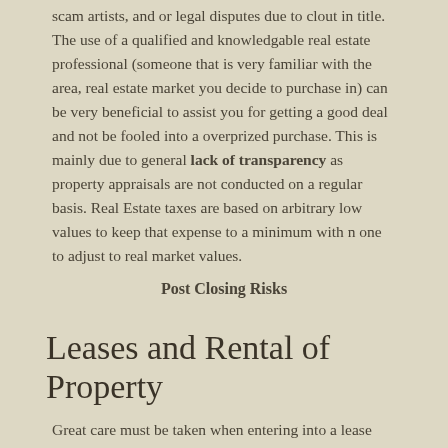scam artists, and or legal disputes due to clout in title. The use of a qualified and knowledgable real estate professional (someone that is very familiar with the area, real estate market you decide to purchase in) can be very beneficial to assist you for getting a good deal and not be fooled into a overprized purchase. This is mainly due to general lack of transparency as property appraisals are not conducted on a regular basis. Real Estate taxes are based on arbitrary low values to keep that expense to a minimum with n one to adjust to real market values.
Post Closing Risks
Leases and Rental of Property
Great care must be taken when entering into a lease agreement in Costa Rica, as improperly drafted agreements may make it difficult or impossible to increase rents, and it can be very difficult to remove tenants from a property.
Regardless of the term specified on a rental or lease agreement, the terms and conditions will apply for a minimum